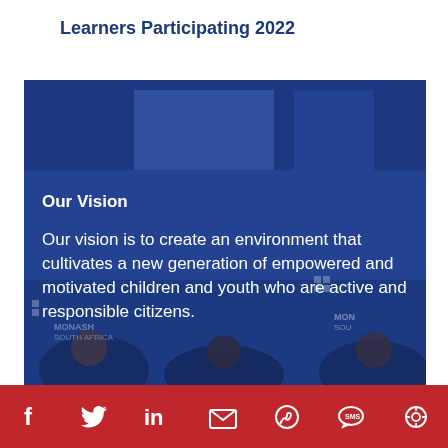Learners Participating 2022
[Figure (photo): Group photo of learners/youth seated in front of Monash South Africa branded banners, overlaid with blue tint]
Our Vision
Our vision is to create an environment that cultivates a new generation of empowered and motivated children and youth who are active and responsible citizens.
[Figure (infographic): Red footer bar with social media icons: Facebook, Twitter, LinkedIn, Email, WhatsApp, SMS, and a share/eye icon]